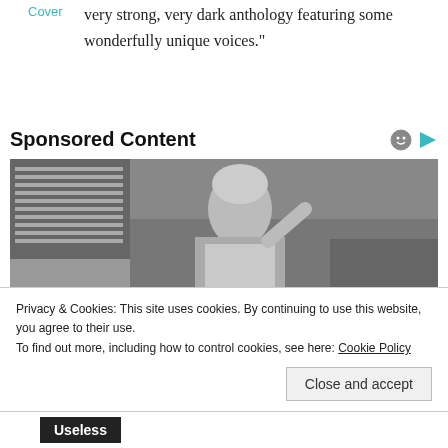Cover
very strong, very dark anthology featuring some wonderfully unique voices."
Sponsored Content
[Figure (photo): Black and white photo of a woman in a kitchen, wearing an apron, with her hand raised to her forehead.]
Privacy & Cookies: This site uses cookies. By continuing to use this website, you agree to their use.
To find out more, including how to control cookies, see here: Cookie Policy
Close and accept
Useless